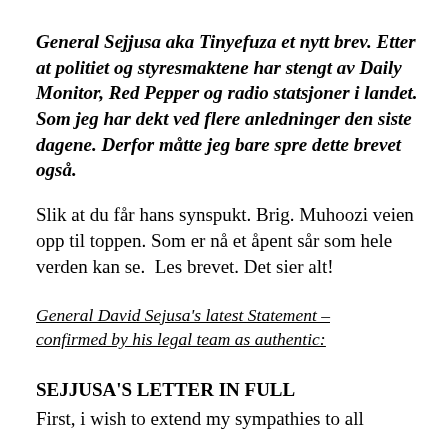General Sejjusa aka Tinyefuza et nytt brev. Etter at politiet og styresmaktene har stengt av Daily Monitor, Red Pepper og radio statsjoner i landet. Som jeg har dekt ved flere anledninger den siste dagene. Derfor måtte jeg bare spre dette brevet også. Slik at du får hans synspukt. Brig. Muhoozi veien opp til toppen. Som er nå et åpent sår som hele verden kan se.  Les brevet. Det sier alt!
General David Sejusa's latest Statement – confirmed by his legal team as authentic:
SEJJUSA'S LETTER IN FULL
First, i wish to extend my sympathies to all